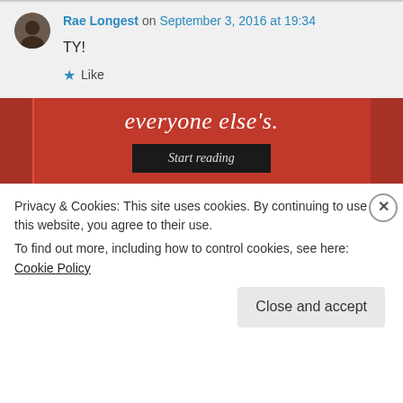Rae Longest on September 3, 2016 at 19:34
TY!
★ Like
[Figure (other): Red advertisement banner with text 'everyone else's.' and a 'Start reading' button]
Privacy & Cookies: This site uses cookies. By continuing to use this website, you agree to their use.
To find out more, including how to control cookies, see here: Cookie Policy
Close and accept